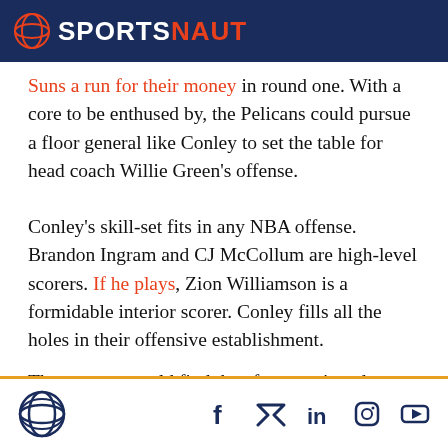SPORTSNAUT
Suns a run for their money in round one. With a core to be enthused by, the Pelicans could pursue a floor general like Conley to set the table for head coach Willie Green's offense.
Conley's skill-set fits in any NBA offense. Brandon Ingram and CJ McCollum are high-level scorers. If he plays, Zion Williamson is a formidable interior scorer. Conley fills all the holes in their offensive establishment.
The veteran would find the aforementioned scorers
Sportsnaut footer with social icons